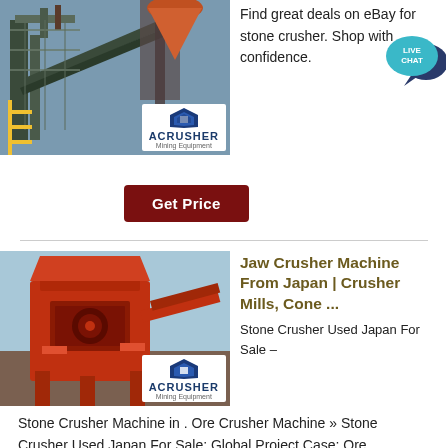[Figure (photo): Industrial stone crusher / mining equipment facility with blue sky and scaffolding, with ACRUSHER Mining Equipment logo overlay]
Find great deals on eBay for stone crusher. Shop with confidence.
[Figure (illustration): LIVE CHAT speech bubble icon in teal/dark blue]
Get Price
[Figure (photo): Red jaw crusher machine at industrial site with ACRUSHER Mining Equipment logo overlay]
Jaw Crusher Machine From Japan | Crusher Mills, Cone ...
Stone Crusher Used Japan For Sale – Stone Crusher Machine in . Ore Crusher Machine » Stone Crusher Used Japan For Sale; Global Project Case; Ore